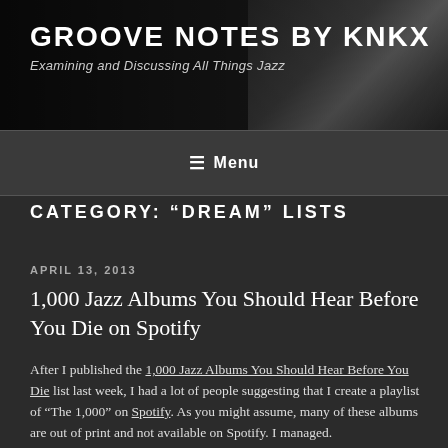GROOVE NOTES BY KNKX
Examining and Discussing All Things Jazz
[Figure (photo): Hands playing piano keys, dark background]
GROOVE NOTES BY KNKX
Examining and Discussing All Things Jazz
≡ Menu
CATEGORY: “DREAM” LISTS
APRIL 13, 2013
1,000 Jazz Albums You Should Hear Before You Die on Spotify
After I published the 1,000 Jazz Albums You Should Hear Before You Die list last week, I had a lot of people suggesting that I create a playlist of “The 1,000” on Spotify. As you might assume, many of these albums are out of print and not available on Spotify. I managed.